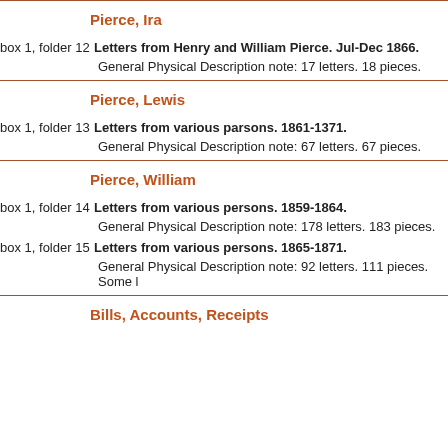Pierce, Ira
box 1, folder 12 — Letters from Henry and William Pierce. Jul-Dec 1866.
General Physical Description note: 17 letters. 18 pieces.
Pierce, Lewis
box 1, folder 13 — Letters from various parsons. 1861-1371.
General Physical Description note: 67 letters. 67 pieces.
Pierce, William
box 1, folder 14 — Letters from various persons. 1859-1864.
General Physical Description note: 178 letters. 183 pieces.
box 1, folder 15 — Letters from various persons. 1865-1871.
General Physical Description note: 92 letters. 111 pieces. Some l
Bills, Accounts, Receipts